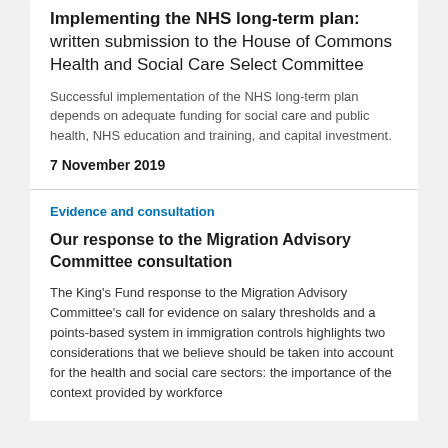Implementing the NHS long-term plan: written submission to the House of Commons Health and Social Care Select Committee
Successful implementation of the NHS long-term plan depends on adequate funding for social care and public health, NHS education and training, and capital investment.
7 November 2019
Evidence and consultation
Our response to the Migration Advisory Committee consultation
The King's Fund response to the Migration Advisory Committee's call for evidence on salary thresholds and a points-based system in immigration controls highlights two considerations that we believe should be taken into account for the health and social care sectors: the importance of the context provided by workforce